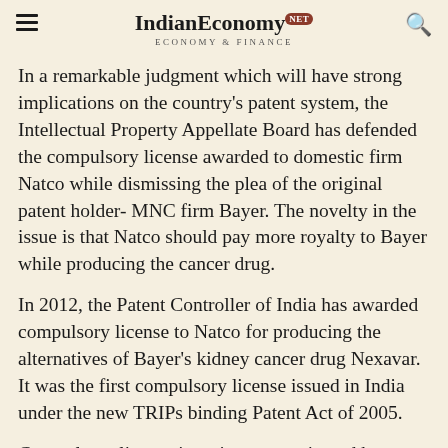IndianEconomy.NET — ECONOMY & FINANCE
In a remarkable judgment which will have strong implications on the country's patent system, the Intellectual Property Appellate Board has defended the compulsory license awarded to domestic firm Natco while dismissing the plea of the original patent holder- MNC firm Bayer. The novelty in the issue is that Natco should pay more royalty to Bayer while producing the cancer drug.
In 2012, the Patent Controller of India has awarded compulsory license to Natco for producing the alternatives of Bayer's kidney cancer drug Nexavar.  It was the first compulsory license issued in India under the new TRIPs binding Patent Act of 2005.
Compulsory license is an instrument issued by